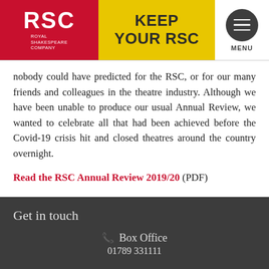RSC ROYAL SHAKESPEARE COMPANY | KEEP YOUR RSC | MENU
nobody could have predicted for the RSC, or for our many friends and colleagues in the theatre industry. Although we have been unable to produce our usual Annual Review, we wanted to celebrate all that had been achieved before the Covid-19 crisis hit and closed theatres around the country overnight.
Read the RSC Annual Review 2019/20 (PDF)
Get in touch
Box Office
01789 331111